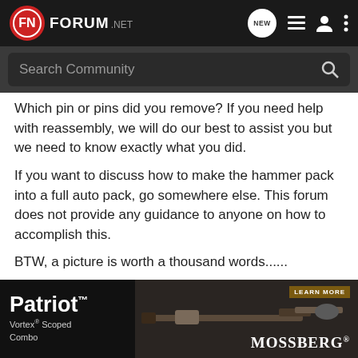FN FORUM.NET
Search Community
Which pin or pins did you remove? If you need help with reassembly, we will do our best to assist you but we need to know exactly what you did.

If you want to discuss how to make the hammer pack into a full auto pack, go somewhere else. This forum does not provide any guidance to anyone on how to accomplish this.

BTW, a picture is worth a thousand words......
BenadunDunderhunt · Registered 🇬🇧
[Figure (screenshot): Mossberg Patriot Vortex Scoped Combo advertisement banner with rifle image and LEARN MORE button]